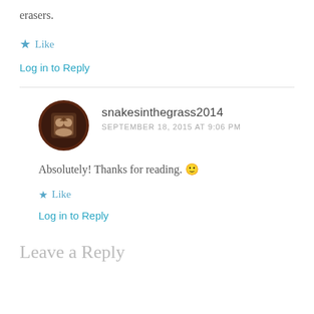erasers.
★ Like
Log in to Reply
snakesinthegrass2014
SEPTEMBER 18, 2015 AT 9:06 PM
Absolutely! Thanks for reading. 🙂
★ Like
Log in to Reply
Leave a Reply